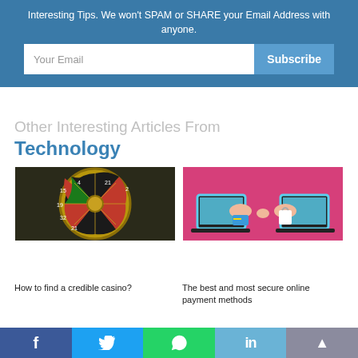Interesting Tips. We won't SPAM or SHARE your Email Address with anyone.
Your Email
Subscribe
Other Interesting Articles From
Technology
[Figure (photo): Close-up of a roulette wheel showing numbers]
How to find a credible casino?
[Figure (illustration): Two laptop screens with hands exchanging credit card and shopping bag on pink background]
The best and most secure online payment methods
f  Twitter  WhatsApp  in  up